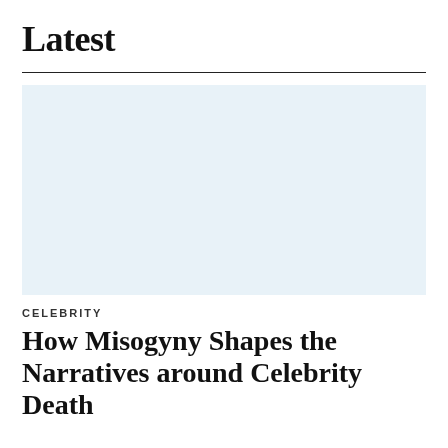Latest
[Figure (photo): Large light blue placeholder image area]
CELEBRITY
How Misogyny Shapes the Narratives around Celebrity Deaths